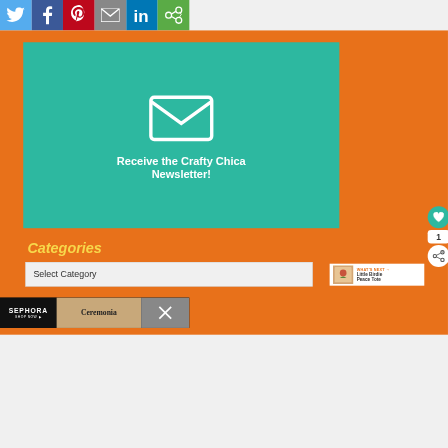[Figure (screenshot): Social media sharing bar with Twitter (blue), Facebook (dark blue), Pinterest (red), Email (gray), LinkedIn (blue), and another sharing button (green) icons]
[Figure (infographic): Teal newsletter signup box with white envelope icon and text: Receive the Crafty Chica Newsletter!]
Categories
[Figure (screenshot): Select Category dropdown bar]
[Figure (screenshot): What's Next panel showing Little Birdie Peace Tote]
[Figure (screenshot): Sephora / Ceremonia advertisement banner at bottom]